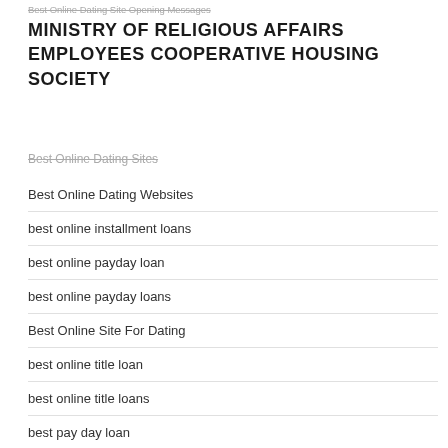Best Online Dating Site Opening Messages
MINISTRY OF RELIGIOUS AFFAIRS EMPLOYEES COOPERATIVE HOUSING SOCIETY
Best Online Dating Websites
best online installment loans
best online payday loan
best online payday loans
Best Online Site For Dating
best online title loan
best online title loans
best pay day loan
best payday loan
best payday loans